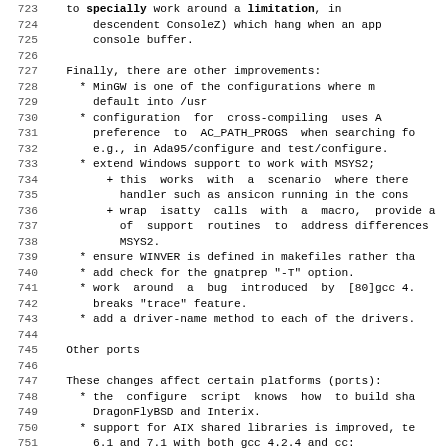723   to specially work around a limitation, in
724       descendent ConsoleZ) which hang when an app
725       console buffer.
726
727   Finally, there are other improvements:
728     * MinGW is one of the configurations where m
729       default into /usr
730     * configuration  for  cross-compiling  uses A
731       preference  to  AC_PATH_PROGS  when searching fo
732       e.g., in Ada95/configure and test/configure.
733     * extend Windows support to work with MSYS2;
734         + this  works  with  a  scenario  where there
735           handler such as ansicon running in the cons
736         + wrap  isatty  calls  with  a  macro,  provide a
737           of  support  routines  to  address differences
738           MSYS2.
739     * ensure WINVER is defined in makefiles rather tha
740     * add check for the gnatprep "-T" option.
741     * work  around  a  bug  introduced  by  [80]gcc 4.
742       breaks "trace" feature.
743     * add a driver-name method to each of the drivers.
744
745   Other ports
746
747   These changes affect certain platforms (ports):
748     * the  configure  script  knows  how  to build sha
749       DragonFlyBSD and Interix.
750     * support for AIX shared libraries is improved, te
751       6.1 and 7.1 with both gcc 4.2.4 and cc:
752         + the shared-library suffix for AIX 5 and 6 i
753         + the  -brtl  option is used with AIX 5-7; it
754           with the shared libraries.
755     * the  configure  --enable-pc-files  option  takes